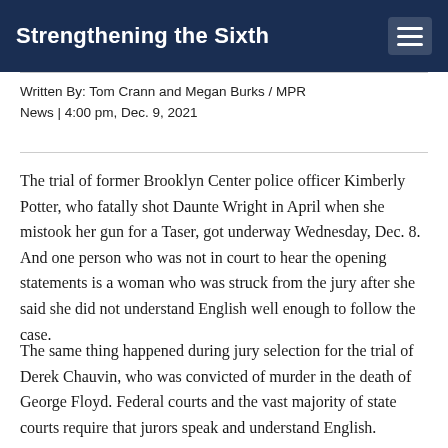Strengthening the Sixth
Written By: Tom Crann and Megan Burks / MPR News | 4:00 pm, Dec. 9, 2021
The trial of former Brooklyn Center police officer Kimberly Potter, who fatally shot Daunte Wright in April when she mistook her gun for a Taser, got underway Wednesday, Dec. 8. And one person who was not in court to hear the opening statements is a woman who was struck from the jury after she said she did not understand English well enough to follow the case.
The same thing happened during jury selection for the trial of Derek Chauvin, who was convicted of murder in the death of George Floyd. Federal courts and the vast majority of state courts require that jurors speak and understand English.